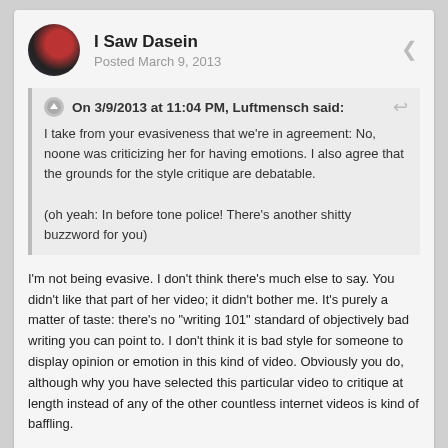[Figure (illustration): User avatar: dark circular profile photo with reddish highlights]
I Saw Dasein
Posted March 9, 2013
On 3/9/2013 at 11:04 PM, Luftmensch said:
I take from your evasiveness that we're in agreement: No, noone was criticizing her for having emotions. I also agree that the grounds for the style critique are debatable.

(oh yeah: In before tone police! There's another shitty buzzword for you)
I'm not being evasive. I don't think there's much else to say. You didn't like that part of her video; it didn't bother me. It's purely a matter of taste: there's no "writing 101" standard of objectively bad writing you can point to. I don't think it is bad style for someone to display opinion or emotion in this kind of video. Obviously you do, although why you have selected this particular video to critique at length instead of any of the other countless internet videos is kind of baffling.